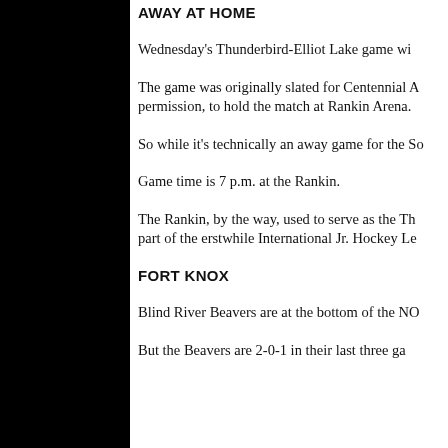AWAY AT HOME
Wednesday's Thunderbird-Elliot Lake game wi...
The game was originally slated for Centennial A... permission, to hold the match at Rankin Arena.
So while it's technically an away game for the So...
Game time is 7 p.m. at the Rankin.
The Rankin, by the way, used to serve as the Th... part of the erstwhile International Jr. Hockey Le...
FORT KNOX
Blind River Beavers are at the bottom of the NO...
But the Beavers are 2-0-1 in their last three ga...